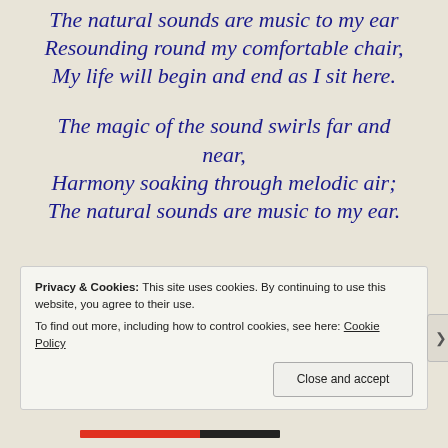The natural sounds are music to my ear
Resounding round my comfortable chair,
My life will begin and end as I sit here.
The magic of the sound swirls far and near,
Harmony soaking through melodic air;
The natural sounds are music to my ear.
Privacy & Cookies: This site uses cookies. By continuing to use this website, you agree to their use.
To find out more, including how to control cookies, see here: Cookie Policy
Close and accept